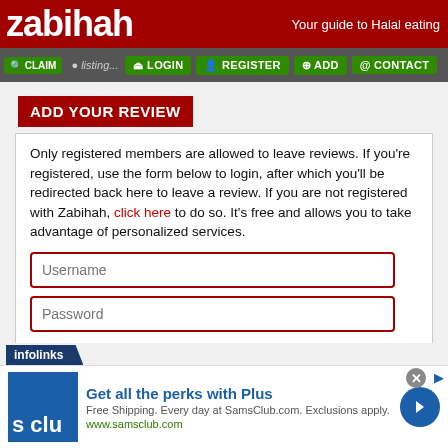zabihah — Your guide to Halal eating
LOGIN | REGISTER | ADD | CONTACT | CLAIM
ADD YOUR REVIEW
Only registered members are allowed to leave reviews. If you're registered, use the form below to login, after which you'll be redirected back here to leave a review. If you are not registered with Zabihah, click here to do so. It's free and allows you to take advantage of personalized services.
Username
Password
LOGIN TO ZABIHAH
[Figure (screenshot): Advertisement banner: infolinks logo bar above a Sam's Club ad with blue logo, headline 'Get all the perks with Plus', subtext 'Free Shipping. Every day at SamsClub.com. Exclusions apply.', URL 'www.samsclub.com', blue arrow button on right, close X button top right.]